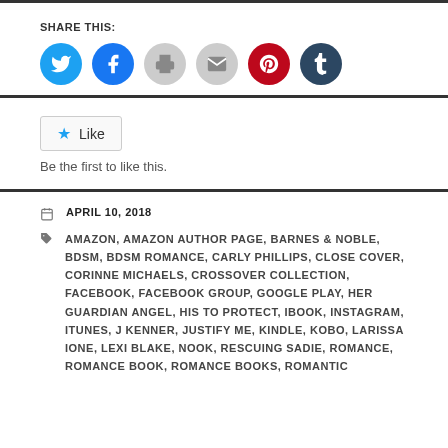SHARE THIS:
[Figure (infographic): Row of six social sharing icon circles: Twitter (blue), Facebook (blue), Print (grey), Email (grey), Pinterest (red), Tumblr (dark navy)]
[Figure (infographic): Like button with star icon and text 'Be the first to like this.']
APRIL 10, 2018
AMAZON, AMAZON AUTHOR PAGE, BARNES & NOBLE, BDSM, BDSM ROMANCE, CARLY PHILLIPS, CLOSE COVER, CORINNE MICHAELS, CROSSOVER COLLECTION, FACEBOOK, FACEBOOK GROUP, GOOGLE PLAY, HER GUARDIAN ANGEL, HIS TO PROTECT, IBOOK, INSTAGRAM, ITUNES, J KENNER, JUSTIFY ME, KINDLE, KOBO, LARISSA IONE, LEXI BLAKE, NOOK, RESCUING SADIE, ROMANCE, ROMANCE BOOK, ROMANCE BOOKS, ROMANTIC